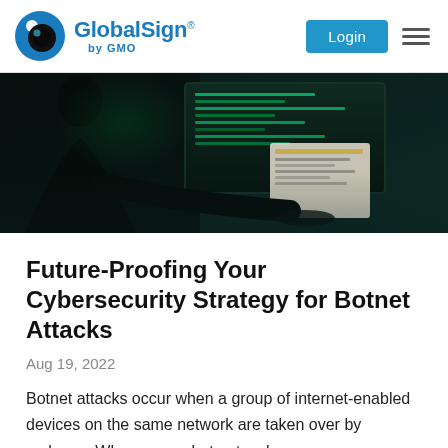GlobalSign by GMO | Login
[Figure (photo): A silhouetted person sitting at a desk working on a laptop with multiple monitors displaying green code/data in a dark room, suggesting a hacking or cybersecurity scenario.]
Future-Proofing Your Cybersecurity Strategy for Botnet Attacks
Aug 19, 2022
Botnet attacks occur when a group of internet-enabled devices on the same network are taken over by malware. When your robot network